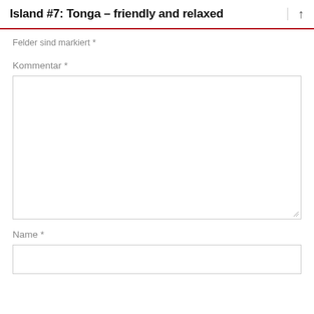Island #7: Tonga – friendly and relaxed
Felder sind markiert *
Kommentar *
Name *